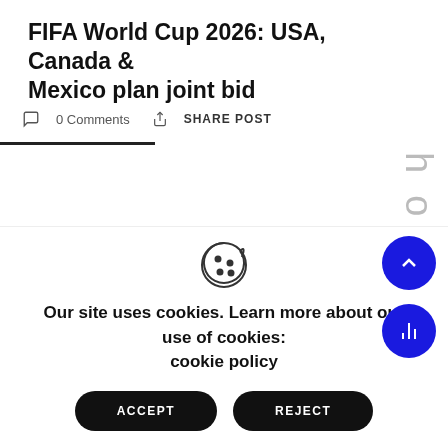FIFA World Cup 2026: USA, Canada & Mexico plan joint bid
0 Comments   SHARE POST
h o s t   t
Our site uses cookies. Learn more about our use of cookies: cookie policy
ACCEPT   REJECT